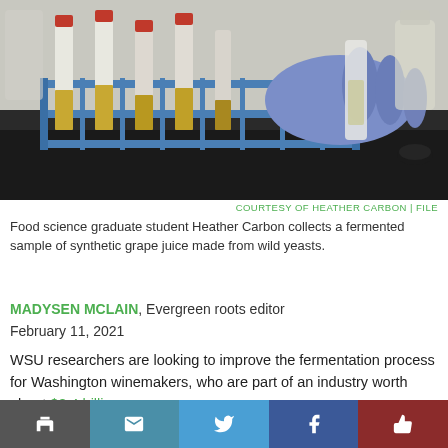[Figure (photo): Laboratory photo showing test tubes with yellowish liquid in a blue metal rack, with a gloved hand handling a sample vial in the background, on a lab bench.]
COURTESY OF HEATHER CARBON | FILE
Food science graduate student Heather Carbon collects a fermented sample of synthetic grape juice made from wild yeasts.
MADYSEN MCLAIN, Evergreen roots editor
February 11, 2021
WSU researchers are looking to improve the fermentation process for Washington winemakers, who are part of an industry worth about $8.4 billion.
The tea